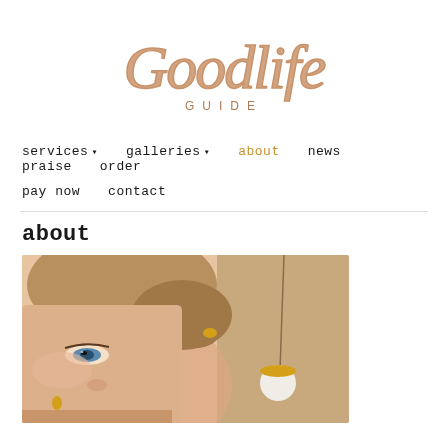[Figure (logo): Goodlife Guide script logo in copper/rose-gold color with 'GUIDE' in spaced caps beneath]
services  galleries  about  news  praise  order  pay now  contact
about
[Figure (photo): Close-up portrait of a young woman with blonde hair pulled back, blue eyes, wearing a yellow earring; background shows a wall with a hanging white/yellow spherical ornament]